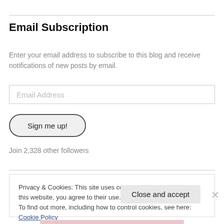Email Subscription
Enter your email address to subscribe to this blog and receive notifications of new posts by email.
Email Address
Sign me up!
Join 2,328 other followers
Privacy & Cookies: This site uses cookies. By continuing to use this website, you agree to their use.
To find out more, including how to control cookies, see here: Cookie Policy
Close and accept